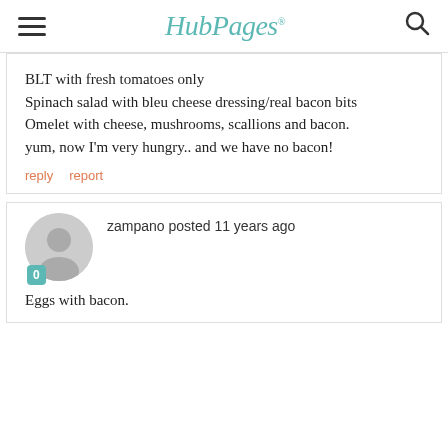HubPages
BLT with fresh tomatoes only

Spinach salad with bleu cheese dressing/real bacon bits

Omelet with cheese, mushrooms, scallions and bacon.

yum, now I'm very hungry.. and we have no bacon!
reply   report
zampano posted 11 years ago
Eggs with bacon.